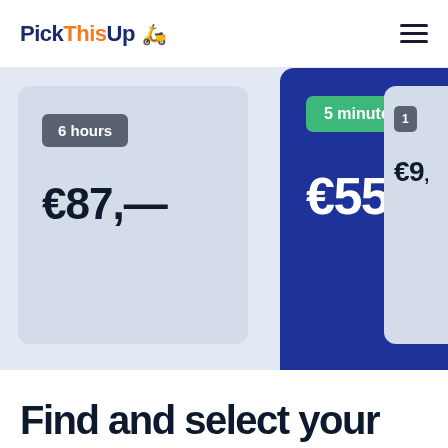PickThisUp
6 hours — €87,—
5 minutes — €55,—
€9...
Find and select your